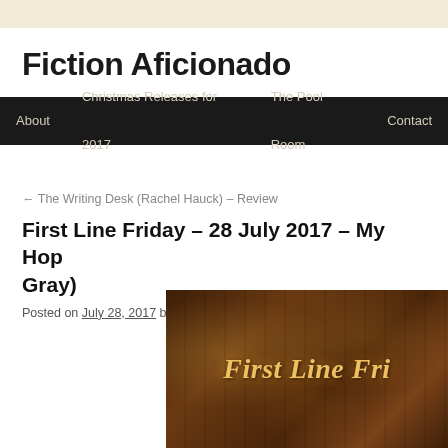Fiction Aficionado
About  Christmas Releases for 2017  The Pool Room  Contact
← The Writing Desk (Rachel Hauck) – Review
First Line Friday – 28 July 2017 – My Hop Gray)
Posted on July 28, 2017 by Fiction Aficionado
[Figure (photo): Dark brown bookshelf background with warm glowing bokeh lights and golden italic text reading 'First Line Fri' (First Line Friday banner image)]